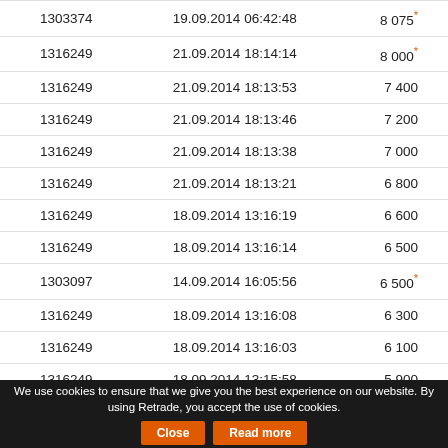| ID | Date/Time | Value |
| --- | --- | --- |
| 1303374 | 19.09.2014 06:42:48 | 8 075* |
| 1316249 | 21.09.2014 18:14:14 | 8 000* |
| 1316249 | 21.09.2014 18:13:53 | 7 400 |
| 1316249 | 21.09.2014 18:13:46 | 7 200 |
| 1316249 | 21.09.2014 18:13:38 | 7 000 |
| 1316249 | 21.09.2014 18:13:21 | 6 800 |
| 1316249 | 18.09.2014 13:16:19 | 6 600 |
| 1316249 | 18.09.2014 13:16:14 | 6 500 |
| 1303097 | 14.09.2014 16:05:56 | 6 500* |
| 1316249 | 18.09.2014 13:16:08 | 6 300 |
| 1316249 | 18.09.2014 13:16:03 | 6 100 |
| 1316249 | 18.09.2014 13:15:58 | 5 900 |
| 1316249 | 18.09.2014 13:15:52 | 5 700 |
We use cookies to ensure that we give you the best experience on our website. By using Retrade, you accept the use of cookies.